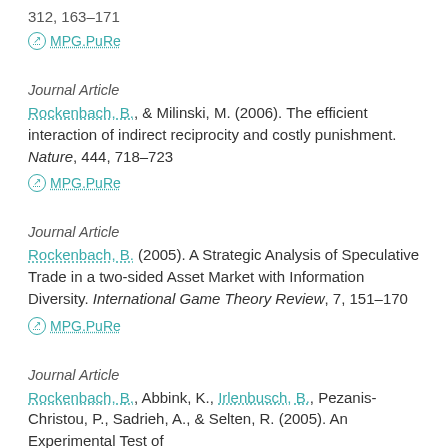312, 163–171
MPG.PuRe
Journal Article
Rockenbach, B., & Milinski, M. (2006). The efficient interaction of indirect reciprocity and costly punishment. Nature, 444, 718–723
MPG.PuRe
Journal Article
Rockenbach, B. (2005). A Strategic Analysis of Speculative Trade in a two-sided Asset Market with Information Diversity. International Game Theory Review, 7, 151–170
MPG.PuRe
Journal Article
Rockenbach, B., Abbink, K., Irlenbusch, B., Pezanis-Christou, P., Sadrieh, A., & Selten, R. (2005). An Experimental Test of